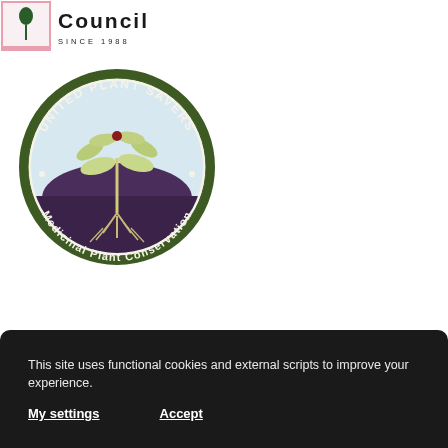[Figure (logo): American Herbal Products Association logo - small box with plant/figure illustration and pink border next to 'Council' text in bold uppercase with 'SINCE 1988' below]
[Figure (logo): United Plant Savers circular logo - dark green border with white text 'UNITED PLANT SAVERS' at top and 'Medicinal Plant Conservation' at bottom, featuring a plant with roots illustration over purple/forest background]
This site uses functional cookies and external scripts to improve your experience.
My settings
Accept